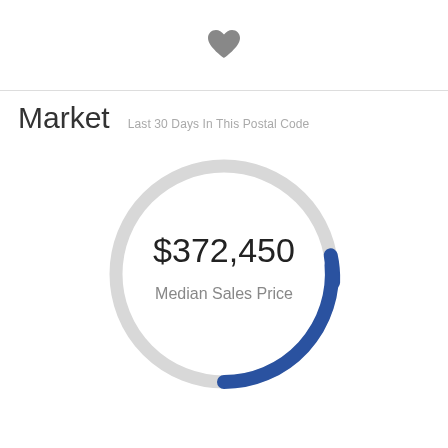[Figure (other): Heart/favorite icon at top center of page]
Market
Last 30 Days In This Postal Code
[Figure (donut-chart): Donut/ring chart showing median sales price of $372,450 with a small blue arc segment on a gray circle]
[Figure (donut-chart): Partially visible second donut chart at bottom of page]